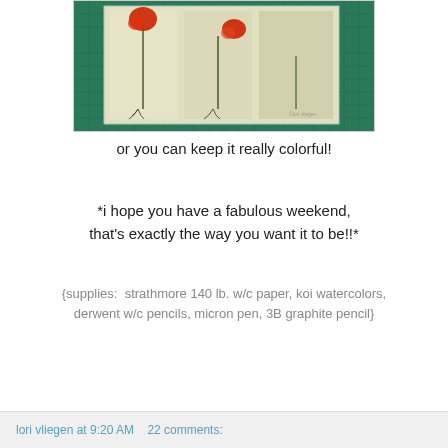[Figure (illustration): Watercolor painting of red poppies with green stems on a light background, displayed on a green cutting mat. The painting shows three flowers in a triptych-like composition with dark pencil details.]
or you can keep it really colorful!
*i hope you have a fabulous weekend, that's exactly the way you want it to be!!*
{supplies:  strathmore 140 lb. w/c paper, koi watercolors, derwent w/c pencils, micron pen, 3B graphite pencil}
lori vliegen at 9:20 AM    22 comments: